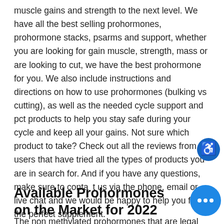muscle gains and strength to the next level. We have all the best selling prohormones, prohormone stacks, psarms and support, whether you are looking for gain muscle, strength, mass or are looking to cut, we have the best prohormone for you. We also include instructions and directions on how to use prohormones (bulking vs cutting), as well as the needed cycle support and pct products to help you stay safe during your cycle and keep all your gains. Not sure which product to take? Check out all the reviews from users that have tried all the types of products you are in search for. And if you have any questions, make sure to contact us via the phone, email or live chat and we would be happy to help you find the perfect supplement.
Available Prohormones on the Market for 2022
The non methylated prohormones that are legal today don't pack the side effects of the ones before the ban in 2019. With the right